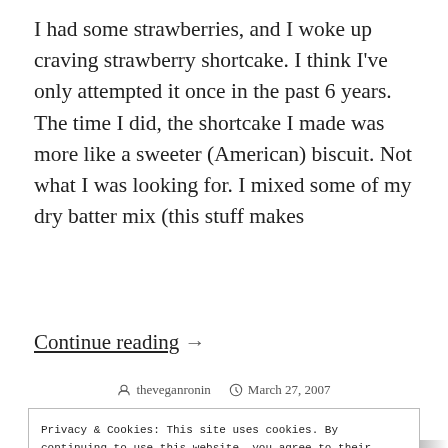I had some strawberries, and I woke up craving strawberry shortcake. I think I've only attempted it once in the past 6 years. The time I did, the shortcake I made was more like a sweeter (American) biscuit. Not what I was looking for. I mixed some of my dry batter mix (this stuff makes
Continue reading →
theveganronin   March 27, 2007
Privacy & Cookies: This site uses cookies. By continuing to use this website, you agree to their use.
To find out more, including how to control cookies, see here:
Cookie Policy
Close and accept